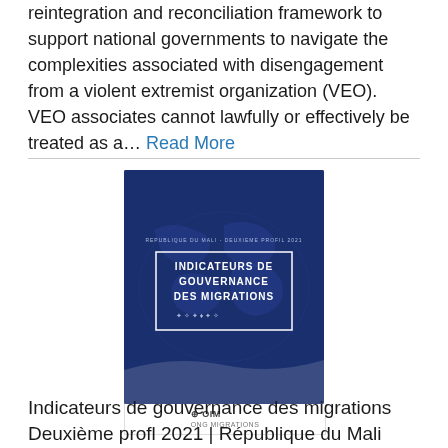reintegration and reconciliation framework to support national governments to navigate the complexities associated with disengagement from a violent extremist organization (VEO). VEO associates cannot lawfully or effectively be treated as a... Read More
[Figure (illustration): Book cover of 'Indicateurs de Gouvernance des Migrations' report with dark blue background showing a world map, published by OIM (IOM)]
Indicateurs de gouvernance des migrations Deuxième profl 2021 | République du Mali